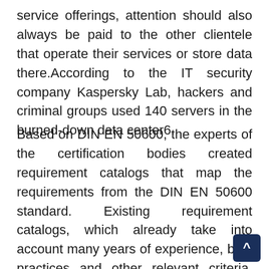service offerings, attention should also always be paid to the other clientele that operate their services or store data there.According to the IT security company Kaspersky Lab, hackers and criminal groups used 140 servers in the burned-down data center6.
Based on DIN EN 50600, the experts of the certification bodies created requirement catalogs that map the requirements from the DIN EN 50600 standard. Existing requirement catalogs, which already take into account many years of experience, best practices and other relevant criteria, were expanded accordingly and compared with DIN EN 50600. Business and risk analysis, protection classes and availability classes were considered according to the criteria of